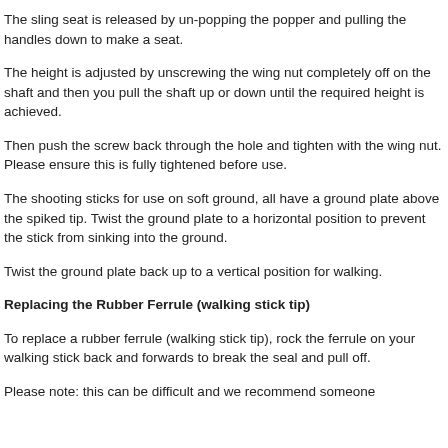The sling seat is released by un-popping the popper and pulling the handles down to make a seat.
The height is adjusted by unscrewing the wing nut completely off on the shaft and then you pull the shaft up or down until the required height is achieved.
Then push the screw back through the hole and tighten with the wing nut. Please ensure this is fully tightened before use.
The shooting sticks for use on soft ground, all have a ground plate above the spiked tip. Twist the ground plate to a horizontal position to prevent the stick from sinking into the ground.
Twist the ground plate back up to a vertical position for walking.
Replacing the Rubber Ferrule (walking stick tip)
To replace a rubber ferrule (walking stick tip), rock the ferrule on your walking stick back and forwards to break the seal and pull off.
Please note: this can be difficult and we recommend someone